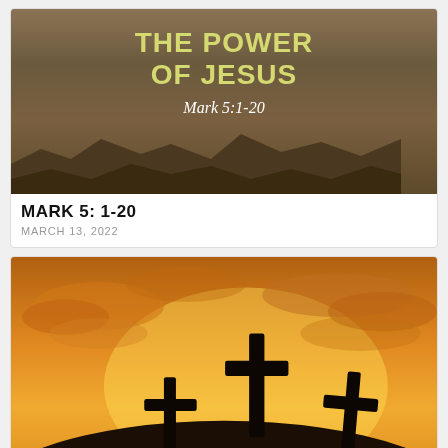[Figure (illustration): Rocky desert landscape with yellow-green text overlay reading 'THE POWER OF JESUS' and 'Mark 5:1-20' in italic script]
MARK 5: 1-20
MARCH 13, 2022
[Figure (photo): Three cross silhouettes on a hill against a dramatic orange and gold sunset sky with clouds]